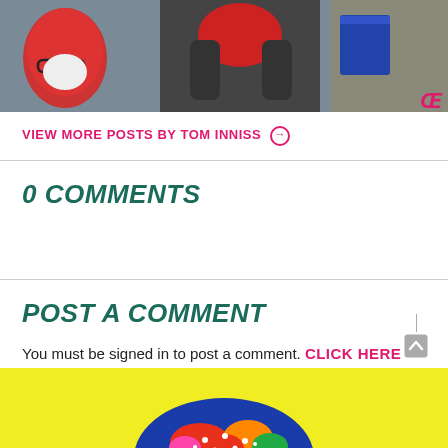[Figure (photo): Photo of a person holding a red object, with a mannequin head and a monkey visible in the background. Dark/grey toned image.]
VIEW MORE POSTS BY TOM INNISS ➔
0 COMMENTS
POST A COMMENT
You must be signed in to post a comment. CLICK HERE TO SIGN IN NOW➔
[Figure (photo): Bottom partial image showing a yellow background with colorful floral patterned fabric/clothing visible at the bottom center.]